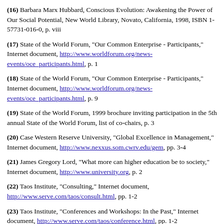(16) Barbara Marx Hubbard, Conscious Evolution: Awakening the Power of Our Social Potential, New World Library, Novato, California, 1998, ISBN 1-57731-016-0, p. viii
(17) State of the World Forum, "Our Common Enterprise - Participants," Internet document, http://www.worldforum.org/news-events/oce_participants.html, p. 1
(18) State of the World Forum, "Our Common Enterprise - Participants," Internet document, http://www.worldforum.org/news-events/oce_participants.html, p. 9
(19) State of the World Forum, 1999 brochure inviting participation in the 5th annual State of the World Forum, list of co-chairs, p. 3
(20) Case Western Reserve University, "Global Excellence in Management," Internet document, http://www.nexxus.som.cwrv.edu/gem, pp. 3-4
(21) James Gregory Lord, "What more can higher education be to society," Internet document, http://www.university.org, p. 2
(22) Taos Institute, "Consulting," Internet document, http://www.serve.com/taos/consult.html, pp. 1-2
(23) Taos Institute, "Conferences and Workshops: In the Past," Internet document, http://www.serve.com/taos/conference.html, pp. 1-2
(24) Taos Institute, "About the Founders: To briefly introduce the founders of